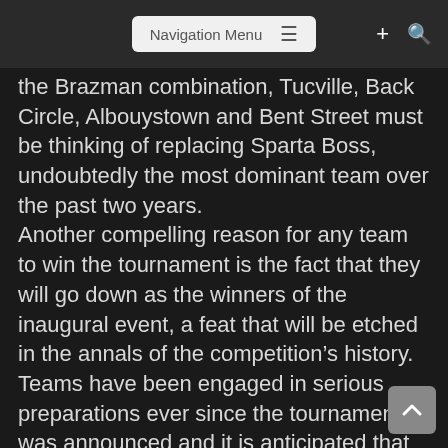Navigation Menu
the Brazman combination, Tucville, Back Circle, Albouystown and Bent Street must be thinking of replacing Sparta Boss, undoubtedly the most dominant team over the past two years. Another compelling reason for any team to win the tournament is the fact that they will go down as the winners of the inaugural event, a feat that will be etched in the annals of the competition's history. Teams have been engaged in serious preparations ever since the tournament was announced and it is anticipated that from Day One the excitement will begin as they